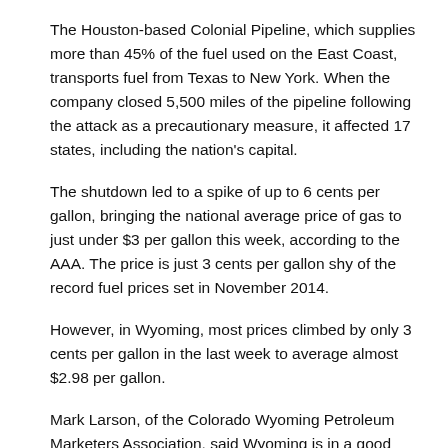The Houston-based Colonial Pipeline, which supplies more than 45% of the fuel used on the East Coast, transports fuel from Texas to New York. When the company closed 5,500 miles of the pipeline following the attack as a precautionary measure, it affected 17 states, including the nation's capital.
The shutdown led to a spike of up to 6 cents per gallon, bringing the national average price of gas to just under $3 per gallon this week, according to the AAA. The price is just 3 cents per gallon shy of the record fuel prices set in November 2014.
However, in Wyoming, most prices climbed by only 3 cents per gallon in the last week to average almost $2.98 per gallon.
Mark Larson, of the Colorado Wyoming Petroleum Marketers Association, said Wyoming is in a good position to weather the impacts of the pipeline shutdown because it is home to four refineries and is a hub for a number of pipelines.
The larger concern for Larson is the cyberattack itself, which